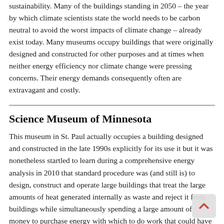sustainability. Many of the buildings standing in 2050 – the year by which climate scientists state the world needs to be carbon neutral to avoid the worst impacts of climate change – already exist today. Many museums occupy buildings that were originally designed and constructed for other purposes and at times when neither energy efficiency nor climate change were pressing concerns. Their energy demands consequently often are extravagant and costly.
Science Museum of Minnesota
This museum in St. Paul actually occupies a building designed and constructed in the late 1990s explicitly for its use it but it was nonetheless startled to learn during a comprehensive energy analysis in 2010 that standard procedure was (and still is) to design, construct and operate large buildings that treat the large amounts of heat generated internally as waste and reject it from buildings while simultaneously spending a large amount of money to purchase energy with which to do work that could have been performed with the waste heat being